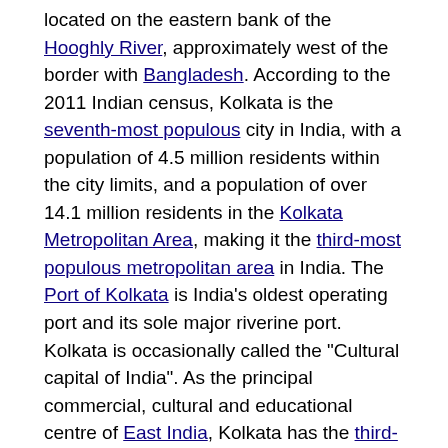located on the eastern bank of the Hooghly River, approximately west of the border with Bangladesh. According to the 2011 Indian census, Kolkata is the seventh-most populous city in India, with a population of 4.5 million residents within the city limits, and a population of over 14.1 million residents in the Kolkata Metropolitan Area, making it the third-most populous metropolitan area in India. The Port of Kolkata is India's oldest operating port and its sole major riverine port. Kolkata is occasionally called the "Cultural capital of India". As the principal commercial, cultural and educational centre of East India, Kolkata has the third-largest urban economy of India.
In the late 17th century, the three villages that predated Calcutta were ruled by the Nawab of Bengal under Mughal suzerainty. After the Nawab granted the East India Company a trading licence in 1690, the area was developed by the Company into an increasingly fortified trading post. Nawab Siraj ud-Daulah occupied Calcutta in 1756, and the East India Company retook it the following